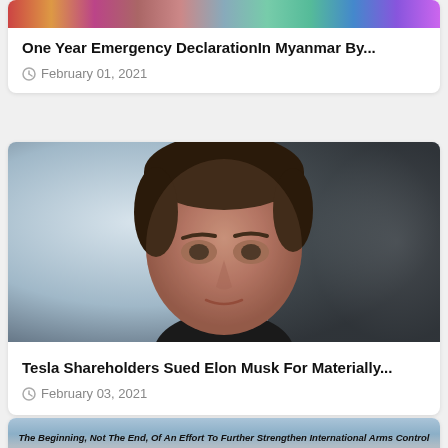[Figure (photo): Partial colorful image at top of first article card, cropped]
One Year Emergency DeclarationIn Myanmar By...
February 01, 2021
[Figure (photo): Portrait photo of Elon Musk, close-up face shot against blurred background]
Tesla Shareholders Sued Elon Musk For Materially...
February 03, 2021
[Figure (photo): Partial image at bottom showing text: The Beginning, Not The End, Of An Effort To Further Strengthen International Arms Control]